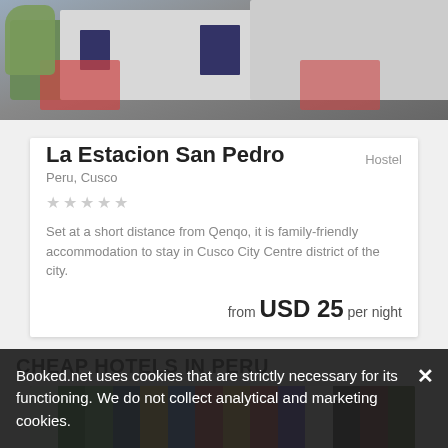[Figure (photo): Photo of La Estacion San Pedro hostel exterior with plants and building]
Hostel
La Estacion San Pedro
Peru, Cusco
★★★★★
Set at a short distance from Qenqo, it is family-friendly accommodation to stay in Cusco City Centre district of the city.
from USD 25 per night
CHEAP HOTELS IN PERU
[Figure (photo): Photo of colorful flags at a hotel location in Peru]
Booked.net uses cookies that are strictly necessary for its functioning. We do not collect analytical and marketing cookies.